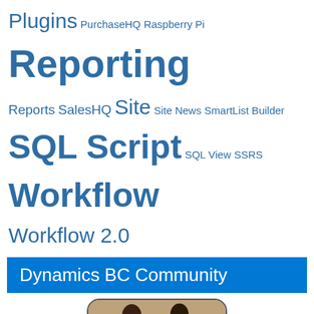Plugins PurchaseHQ Raspberry Pi Reporting Reports SalesHQ Site Site News SmartList Builder SQL Script SQL View SSRS Workflow Workflow 2.0
Dynamics BC Community
[Figure (photo): Microsoft Dynamics 365 community card with two people exchanging a package, text reading 'Learn • Connect • Share' and Microsoft Dynamics 365 branding with colorful Windows logo]